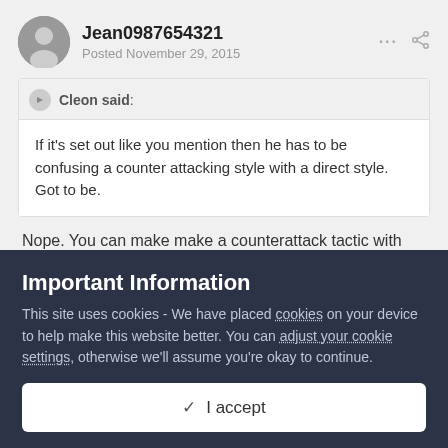Jean0987654321 — Posted November 29, 2015
Cleon said: If it's set out like you mention then he has to be confusing a counter attacking style with a direct style. Got to be.
Nope. You can make make a counterattack tactic with any mentality and I've done so plenty of times this year and lasts...and I used attacking mentality and then drop the dline deeper and get my
Important Information
This site uses cookies - We have placed cookies on your device to help make this website better. You can adjust your cookie settings, otherwise we'll assume you're okay to continue.
✓   I accept